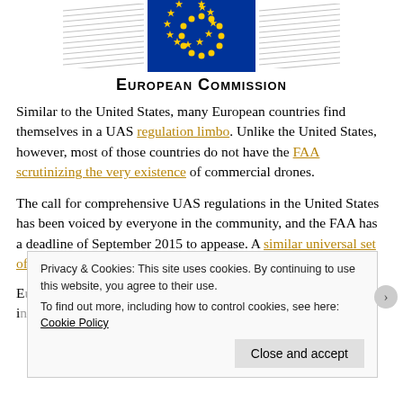[Figure (logo): European Commission logo with EU flag (blue background, circle of yellow stars) flanked by decorative diagonal stripe patterns on each side, with 'European Commission' text below]
Similar to the United States, many European countries find themselves in a UAS regulation limbo. Unlike the United States, however, most of those countries do not have the FAA scrutinizing the very existence of commercial drones.
The call for comprehensive UAS regulations in the United States has been voiced by everyone in the community, and the FAA has a deadline of September 2015 to appease. A similar universal set of regulations has been proposed for all of
Privacy & Cookies: This site uses cookies. By continuing to use this website, you agree to their use. To find out more, including how to control cookies, see here: Cookie Policy
Close and accept